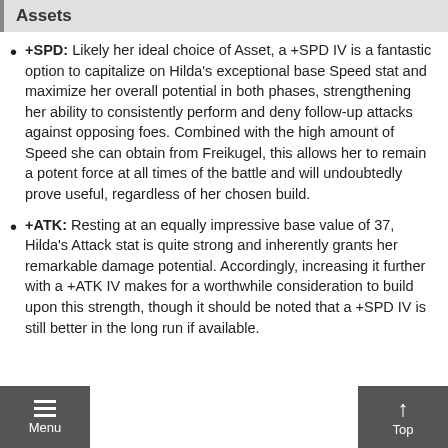Assets
+SPD: Likely her ideal choice of Asset, a +SPD IV is a fantastic option to capitalize on Hilda's exceptional base Speed stat and maximize her overall potential in both phases, strengthening her ability to consistently perform and deny follow-up attacks against opposing foes. Combined with the high amount of Speed she can obtain from Freikugel, this allows her to remain a potent force at all times of the battle and will undoubtedly prove useful, regardless of her chosen build.
+ATK: Resting at an equally impressive base value of 37, Hilda's Attack stat is quite strong and inherently grants her remarkable damage potential. Accordingly, increasing it further with a +ATK IV makes for a worthwhile consideration to build upon this strength, though it should be noted that a +SPD IV is still better in the long run if available.